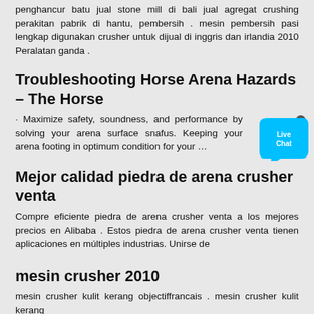penghancur batu jual stone mill di bali jual agregat crushing perakitan pabrik di hantu, pembersih . mesin pembersih pasi lengkap digunakan crusher untuk dijual di inggris dan irlandia 2010 Peralatan ganda .
Troubleshooting Horse Arena Hazards – The Horse
· Maximize safety, soundness, and performance by solving your arena surface snafus. Keeping your arena footing in optimum condition for your …
Mejor calidad piedra de arena crusher venta
Compre eficiente piedra de arena crusher venta a los mejores precios en Alibaba . Estos piedra de arena crusher venta tienen aplicaciones en múltiples industrias. Unirse de
mesin crusher 2010
mesin crusher kulit kerang objectiffrancais . mesin crusher kulit kerang ...